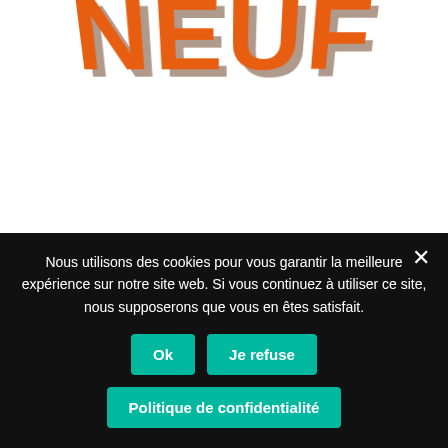[Figure (logo): 3D orange bold text 'NEUF' with shadow effect on white background]
Neuf (97)
[Figure (illustration): Gray placeholder image icon with mountain/landscape outline and circle sun]
Nous utilisons des cookies pour vous garantir la meilleure expérience sur notre site web. Si vous continuez à utiliser ce site, nous supposerons que vous en êtes satisfait.
Ok
Je refuse
Politique de confidentialité